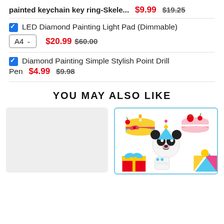painted keychain key ring-Skele... $9.99 $19.25
LED Diamond Painting Light Pad (Dimmable) A4 $20.99 $60.00
Diamond Painting Simple Stylish Point Drill Pen $4.99 $9.98
YOU MAY ALSO LIKE
[Figure (photo): Blank/placeholder product image card on the left]
[Figure (photo): Diamond painting keychain set showing cute characters: birthday cake, panda with hat, strawberry cake, gift box, tooth, and colorful shapes]